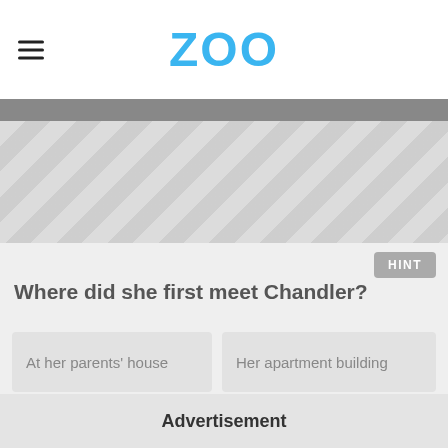ZOO
[Figure (other): Gray advertisement banner with diagonal chevron/zigzag pattern]
HINT
Where did she first meet Chandler?
At her parents' house
Her apartment building
At a college party
The bar that used to be Central Perk
Advertisement